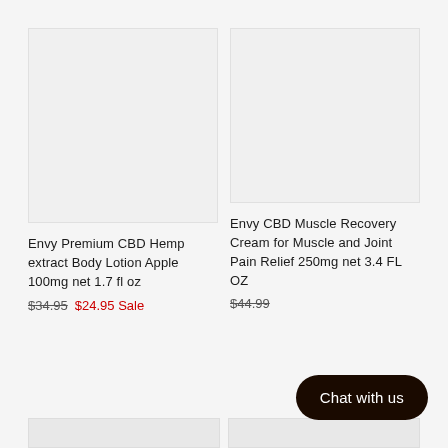[Figure (photo): Product image placeholder for Envy Premium CBD Hemp extract Body Lotion Apple 100mg net 1.7 fl oz — light gray rectangle]
[Figure (photo): Product image placeholder for Envy CBD Muscle Recovery Cream — light gray rectangle]
Envy Premium CBD Hemp extract Body Lotion Apple 100mg net 1.7 fl oz
$34.95 $24.95 Sale
Envy CBD Muscle Recovery Cream for Muscle and Joint Pain Relief 250mg net 3.4 FL OZ
$44.99
Chat with us